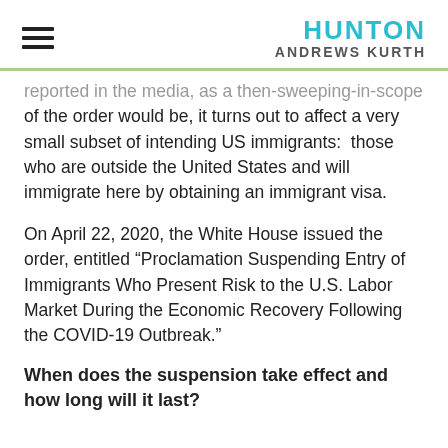HUNTON ANDREWS KURTH
reported in the media, as a then-sweeping-in-scope of the order would be, it turns out to affect a very small subset of intending US immigrants:  those who are outside the United States and will immigrate here by obtaining an immigrant visa.
On April 22, 2020, the White House issued the order, entitled “Proclamation Suspending Entry of Immigrants Who Present Risk to the U.S. Labor Market During the Economic Recovery Following the COVID-19 Outbreak.”
When does the suspension take effect and how long will it last?